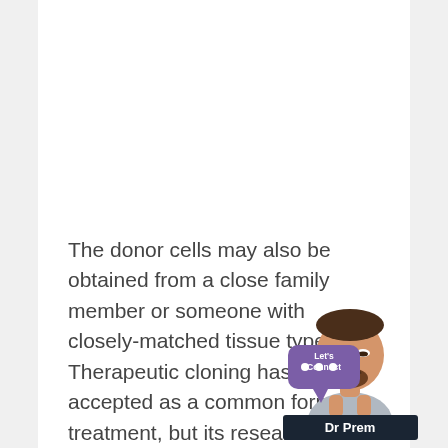[Figure (illustration): Dr Prem avatar widget in lower right corner: cartoon figure of a man with beard, hands together, with a purple speech bubble chat icon and 'Dr Prem' branding label. Overlaps partially with the text block.]
The donor cells may also be obtained from a close family member or someone with closely-matched tissue types. Therapeutic cloning hasn't been accepted as a common form of treatment, but its research is